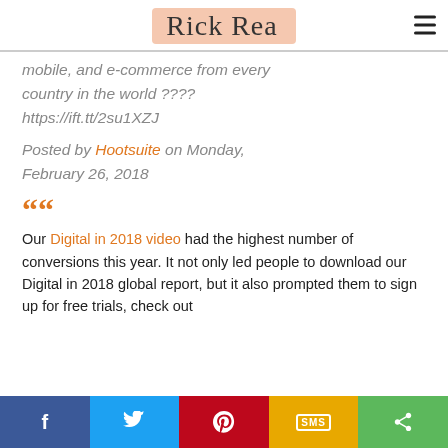Rick Rea
mobile, and e-commerce from every country in the world ???? https://ift.tt/2su1XZJ
Posted by Hootsuite on Monday, February 26, 2018
““
Our Digital in 2018 video had the highest number of conversions this year. It not only led people to download our Digital in 2018 global report, but it also prompted them to sign up for free trials, check out